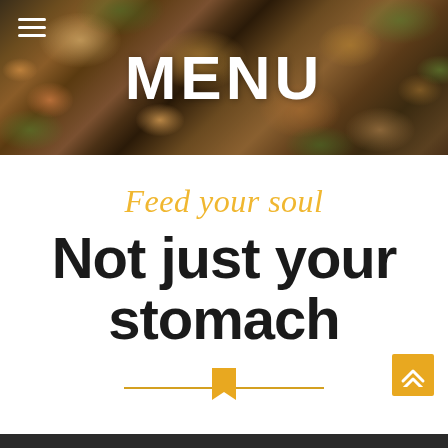[Figure (photo): Hero food photograph showing grilled chicken, black beans, lettuce, tomatoes and jalapeños in a bowl, with MENU text overlay and hamburger menu icon]
Feed your soul
Not just your stomach
[Figure (illustration): Horizontal divider line with a gold bookmark/chevron icon in the center]
[Figure (illustration): Gold scroll-to-top button with double chevron up arrow in bottom right corner]